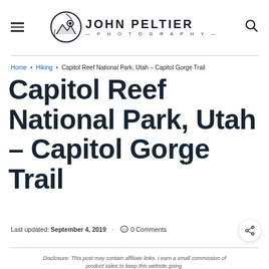John Peltier Photography
Home • Hiking • Capitol Reef National Park, Utah – Capitol Gorge Trail
Capitol Reef National Park, Utah – Capitol Gorge Trail
Last updated: September 4, 2019 · 0 Comments
Disclosure: This post may contain affiliate links. I earn a small commission of product sales to keep this website going.